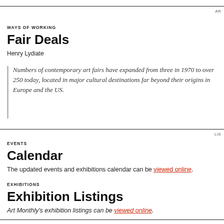AR
WAYS OF WORKING
Fair Deals
Henry Lydiate
Numbers of contemporary art fairs have expanded from three in 1970 to over 250 today, located in major cultural destinations far beyond their origins in Europe and the US.
LIS
EVENTS
Calendar
The updated events and exhibitions calendar can be viewed online.
EXHIBITIONS
Exhibition Listings
Art Monthly's exhibition listings can be viewed online.